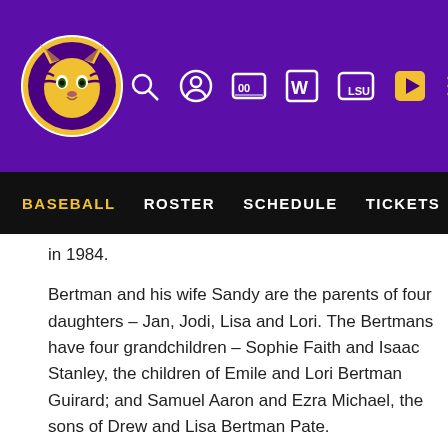LSU Baseball - Header navigation with logo, search, roster, schedule, tickets, stats links
in 1984.
Bertman and his wife Sandy are the parents of four daughters – Jan, Jodi, Lisa and Lori. The Bertmans have four grandchildren – Sophie Faith and Isaac Stanley, the children of Emile and Lori Bertman Guirard; and Samuel Aaron and Ezra Michael, the sons of Drew and Lisa Bertman Pate.
The Bertman Legacy
Bertman's unyielding desire to succeed drove him to the pinnacle of his profession, and his astute knowledge of the game — obtained from over 40 years of coaching —